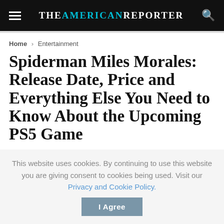THE AMERICAN REPORTER
Home > Entertainment
Spiderman Miles Morales: Release Date, Price and Everything Else You Need to Know About the Upcoming PS5 Game
by Jennifer Ross — August 28, 2020
This website uses cookies. By continuing to use this website you are giving consent to cookies being used. Visit our Privacy and Cookie Policy.